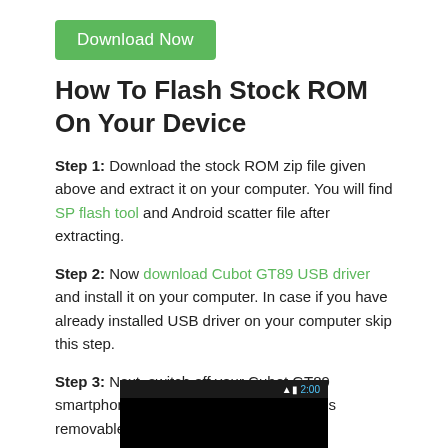Download Now
How To Flash Stock ROM On Your Device
Step 1: Download the stock ROM zip file given above and extract it on your computer. You will find SP flash tool and Android scatter file after extracting.
Step 2: Now download Cubot GT89 USB driver and install it on your computer. In case if you have already installed USB driver on your computer skip this step.
Step 3: Next, switch off your Cubot GT89 smartphone and remove the battery (if it is removable).
[Figure (screenshot): Partial screenshot of a video player showing a black screen with a status bar showing 2:00 time indicator and signal/battery icons.]